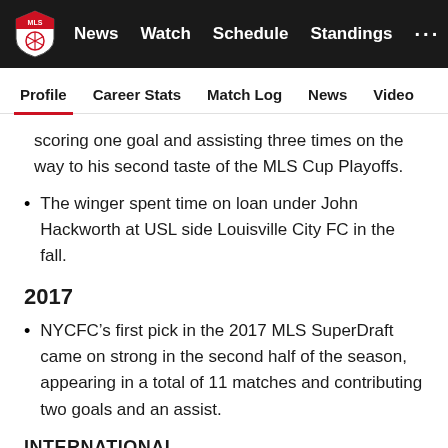MLS | News | Watch | Schedule | Standings | ...
Profile | Career Stats | Match Log | News | Video
scoring one goal and assisting three times on the way to his second taste of the MLS Cup Playoffs.
The winger spent time on loan under John Hackworth at USL side Louisville City FC in the fall.
2017
NYCFC’s first pick in the 2017 MLS SuperDraft came on strong in the second half of the season, appearing in a total of 11 matches and contributing two goals and an assist.
INTERNATIONAL